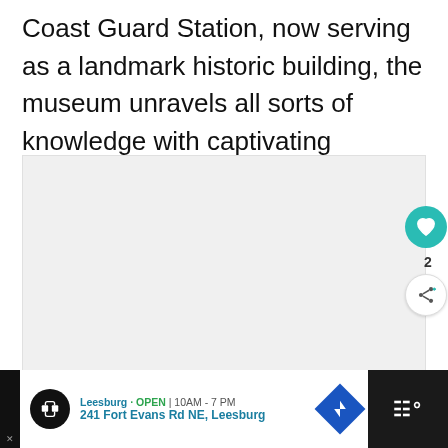Coast Guard Station, now serving as a landmark historic building, the museum unravels all sorts of knowledge with captivating fashion.
[Figure (other): Light gray image placeholder area with social interaction buttons (heart/like and share) on the right side, and a 'What's Next' card showing 'Seven Best Restaurants ...' in the bottom-right corner.]
[Figure (other): Advertisement bar at the bottom: Leesburg location OPEN 10AM-7PM, 241 Fort Evans Rd NE Leesburg, with navigation icon and dark right panel.]